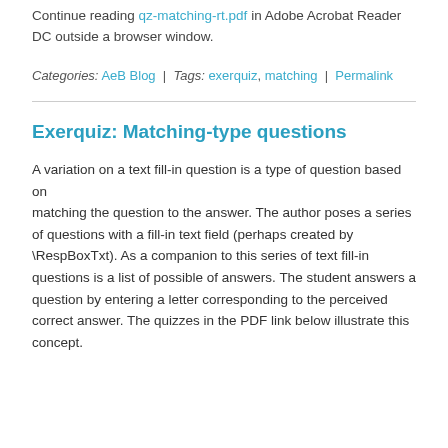Continue reading qz-matching-rt.pdf in Adobe Acrobat Reader DC outside a browser window.
Categories: AeB Blog | Tags: exerquiz, matching | Permalink
Exerquiz: Matching-type questions
A variation on a text fill-in question is a type of question based on matching the question to the answer. The author poses a series of questions with a fill-in text field (perhaps created by \RespBoxTxt). As a companion to this series of text fill-in questions is a list of possible of answers. The student answers a question by entering a letter corresponding to the perceived correct answer. The quizzes in the PDF link below illustrate this concept.